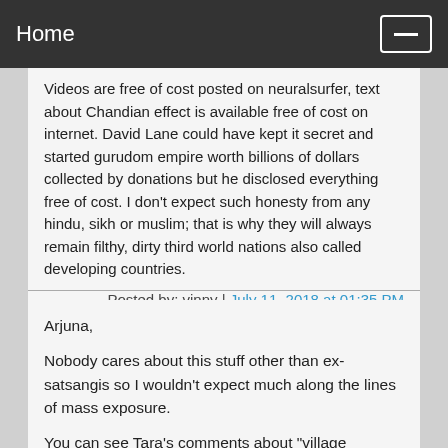Home
Videos are free of cost posted on neuralsurfer, text about Chandian effect is available free of cost on internet. David Lane could have kept it secret and started gurudom empire worth billions of dollars collected by donations but he disclosed everything free of cost. I don't expect such honesty from any hindu, sikh or muslim; that is why they will always remain filthy, dirty third world nations also called developing countries.
Posted by: vinny | July 11, 2018 at 01:35 PM
Arjuna,
Nobody cares about this stuff other than ex-satsangis so I wouldn't expect much along the lines of mass exposure.
You can see Tara's comments about "village mentality" in India and compare RS to the Ram Rahim cult to get a better picture. I mean that guy was making expensive films about himself as a superhero and he didn't even